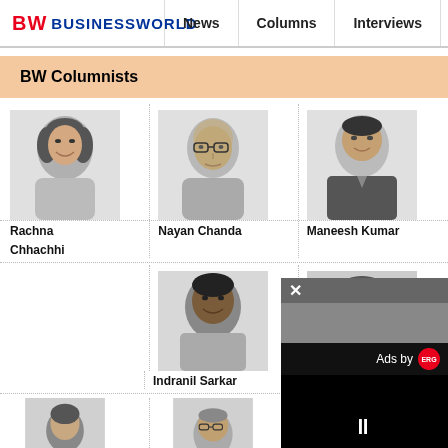BW BUSINESSWORLD | News | Columns | Interviews | BW
BW Columnists
[Figure (photo): Headshot of Rachna Chhachhi, female columnist, grayscale photo]
Rachna Chhachhi
[Figure (photo): Headshot of Nayan Chanda, male columnist with glasses, grayscale photo]
Nayan Chanda
[Figure (photo): Headshot of Maneesh Kumar, male columnist, grayscale photo]
Maneesh Kumar
[Figure (photo): Headshot of Indranil Sarkar, male columnist, grayscale photo]
Indranil Sarkar
[Figure (photo): Partial headshots of two more columnists visible at bottom of page]
[Figure (screenshot): Ad overlay popup with close button (x), Ads by ERG logo, and pause button on black background]